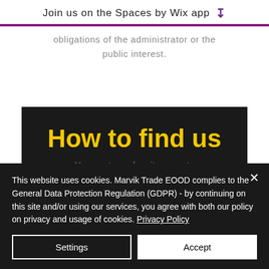Join us on the Spaces by Wix app
obligations of the administrator or the public interest.
How to find us
Your partner when it comes to professional transportation services
This website uses cookies. Marvik Trade EOOD complies to the General Data Protection Regulation (GDPR) - by continuing on this site and/or using our services, you agree with both our policy on privacy and usage of cookies. Privacy Policy
Settings
Accept